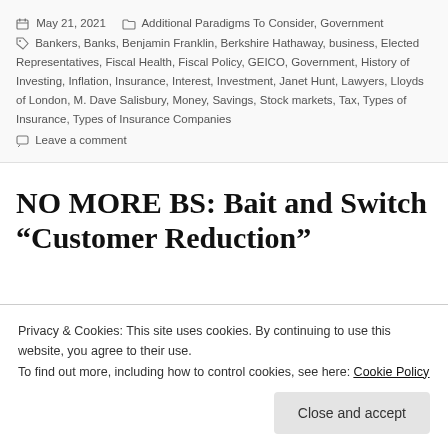May 21, 2021 Additional Paradigms To Consider, Government Bankers, Banks, Benjamin Franklin, Berkshire Hathaway, business, Elected Representatives, Fiscal Health, Fiscal Policy, GEICO, Government, History of Investing, Inflation, Insurance, Interest, Investment, Janet Hunt, Lawyers, Lloyds of London, M. Dave Salisbury, Money, Savings, Stock markets, Tax, Types of Insurance, Types of Insurance Companies Leave a comment
NO MORE BS: Bait and Switch "Customer Reduction"
Privacy & Cookies: This site uses cookies. By continuing to use this website, you agree to their use.
To find out more, including how to control cookies, see here: Cookie Policy
Close and accept